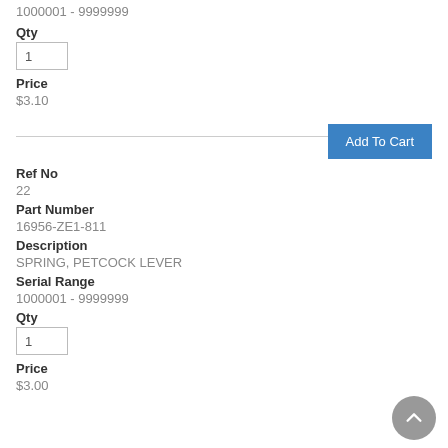1000001 - 9999999
Qty
1
Price
$3.10
Add To Cart
Ref No
22
Part Number
16956-ZE1-811
Description
SPRING, PETCOCK LEVER
Serial Range
1000001 - 9999999
Qty
1
Price
$3.00